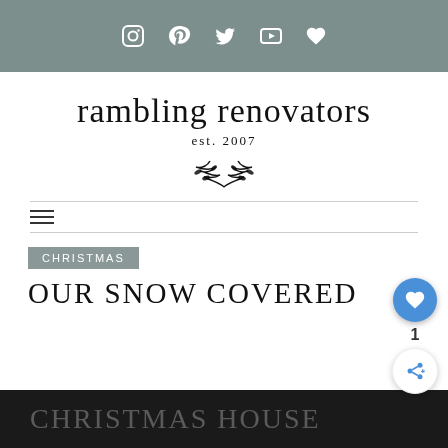Social media icons bar: Instagram, Pinterest, Twitter, YouTube, Heart
rambling renovators
est. 2007
[Figure (illustration): Laurel branch / wreath decorative divider]
CHRISTMAS
OUR SNOW COVERED CHRISTMAS HOUSE